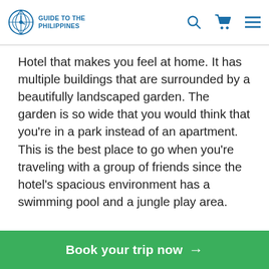Guide to the Philippines
Hotel that makes you feel at home. It has multiple buildings that are surrounded by a beautifully landscaped garden. The garden is so wide that you would think that you're in a park instead of an apartment. This is the best place to go when you're traveling with a group of friends since the hotel's spacious environment has a swimming pool and a jungle play area.
Book a staycation deal to Kasa Luntian in Tagaytay
S… of Tagaytay's tourist sites that are perfect for a t…ng group are also nearby such as the Sky Ranch and Tagaytay Picnic Grove. While the hotel does not…